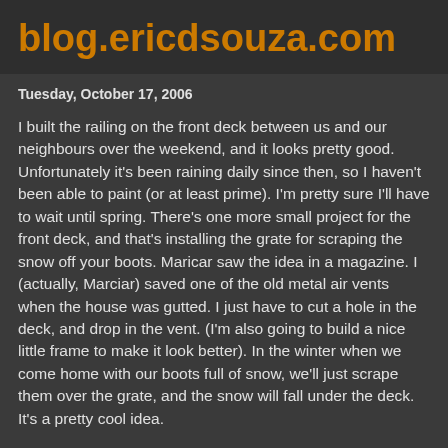blog.ericdsouza.com
Tuesday, October 17, 2006
I built the railing on the front deck between us and our neighbours over the weekend, and it looks pretty good. Unfortunately it's been raining daily since then, so I haven't been able to paint (or at least prime). I'm pretty sure I'll have to wait until spring. There's one more small project for the front deck, and that's installing the grate for scraping the snow off your boots. Maricar saw the idea in a magazine. I (actually, Marciar) saved one of the old metal air vents when the house was gutted. I just have to cut a hole in the deck, and drop in the vent. (I'm also going to build a nice little frame to make it look better). In the winter when we come home with our boots full of snow, we'll just scrape them over the grate, and the snow will fall under the deck. It's a pretty cool idea.